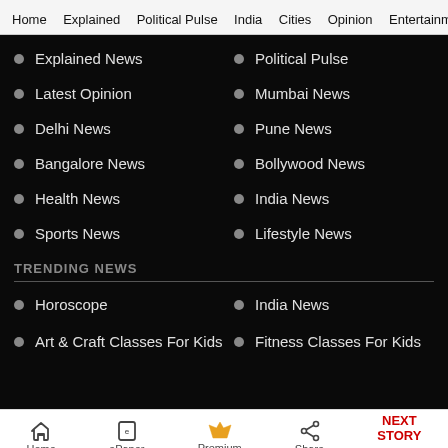Home  Explained  Political Pulse  India  Cities  Opinion  Entertainment
Explained News
Political Pulse
Latest Opinion
Mumbai News
Delhi News
Pune News
Bangalore News
Bollywood News
Health News
India News
Sports News
Lifestyle News
TRENDING NEWS
Horoscope
India News
Art & Craft Classes For Kids
Fitness Classes For Kids
Home  ePaper  Premium  Share  NEXT STORY